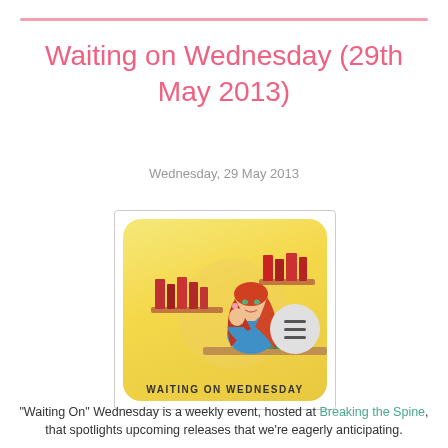Waiting on Wednesday (29th May 2013)
Wednesday, 29 May 2013
[Figure (illustration): Waiting on Wednesday meme image: cartoon of a red-haired woman in a blue dress leaning on a desk reading a book, with bookshelves in the background on a yellow rounded rectangle background. Caption: WAITING ON WEDNESDAY]
"Waiting On" Wednesday is a weekly event, hosted at Breaking the Spine, that spotlights upcoming releases that we're eagerly anticipating.